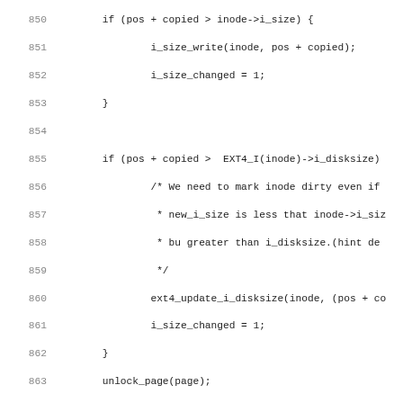[Figure (screenshot): Source code listing showing C code from an ext4 Linux kernel file, lines 850-882, with line numbers on the left and code on the right in monospace font.]